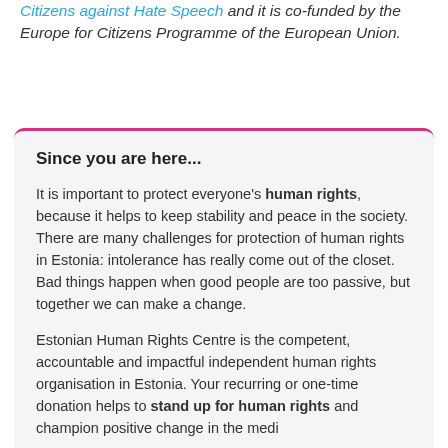Citizens against Hate Speech and it is co-funded by the Europe for Citizens Programme of the European Union.
Since you are here...
It is important to protect everyone's human rights, because it helps to keep stability and peace in the society. There are many challenges for protection of human rights in Estonia: intolerance has really come out of the closet. Bad things happen when good people are too passive, but together we can make a change.
Estonian Human Rights Centre is the competent, accountable and impactful independent human rights organisation in Estonia. Your recurring or one-time donation helps to stand up for human rights and champion positive change in the media...